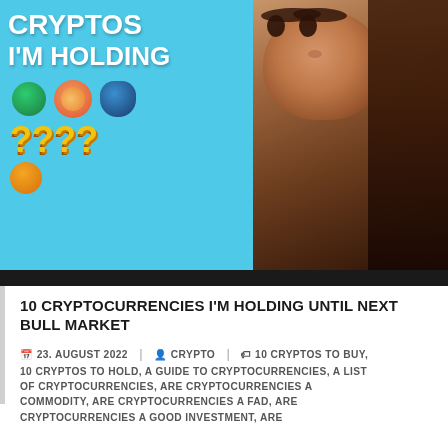[Figure (photo): Thumbnail image showing a blue card with text 'CRYPTOS I'M HOLDING' and question marks '????' with colorful crypto icons, alongside a woman's face on a dark background]
10 CRYPTOCURRENCIES I'M HOLDING UNTIL NEXT BULL MARKET
23. AUGUST 2022  CRYPTO  10 CRYPTOS TO BUY, 10 CRYPTOS TO HOLD, A GUIDE TO CRYPTOCURRENCIES, A LIST OF CRYPTOCURRENCIES, ARE CRYPTOCURRENCIES A COMMODITY, ARE CRYPTOCURRENCIES A FAD, ARE CRYPTOCURRENCIES A GOOD INVESTMENT, ARE